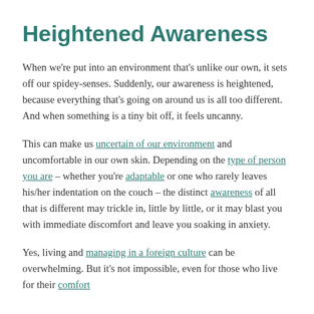Heightened Awareness
When we're put into an environment that's unlike our own, it sets off our spidey-senses. Suddenly, our awareness is heightened, because everything that's going on around us is all too different. And when something is a tiny bit off, it feels uncanny.
This can make us uncertain of our environment and uncomfortable in our own skin. Depending on the type of person you are – whether you're adaptable or one who rarely leaves his/her indentation on the couch – the distinct awareness of all that is different may trickle in, little by little, or it may blast you with immediate discomfort and leave you soaking in anxiety.
Yes, living and managing in a foreign culture can be overwhelming. But it's not impossible, even for those who live for their comfort